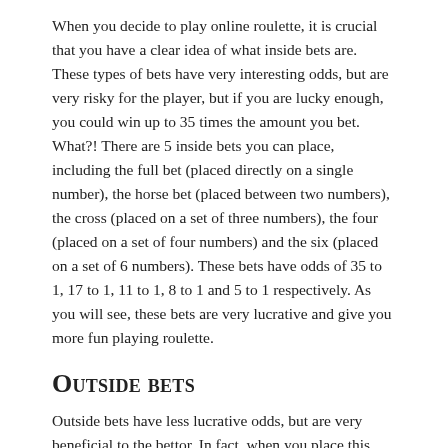When you decide to play online roulette, it is crucial that you have a clear idea of what inside bets are. These types of bets have very interesting odds, but are very risky for the player, but if you are lucky enough, you could win up to 35 times the amount you bet. What?! There are 5 inside bets you can place, including the full bet (placed directly on a single number), the horse bet (placed between two numbers), the cross (placed on a set of three numbers), the four (placed on a set of four numbers) and the six (placed on a set of 6 numbers). These bets have odds of 35 to 1, 17 to 1, 11 to 1, 8 to 1 and 5 to 1 respectively. As you will see, these bets are very lucrative and give you more fun playing roulette.
Outside bets
Outside bets have less lucrative odds, but are very beneficial to the bettor. In fact, when you place this type of bet, you are guaranteed a win and a bonus, why not, at the end of each game. Among the outside bets, there are the